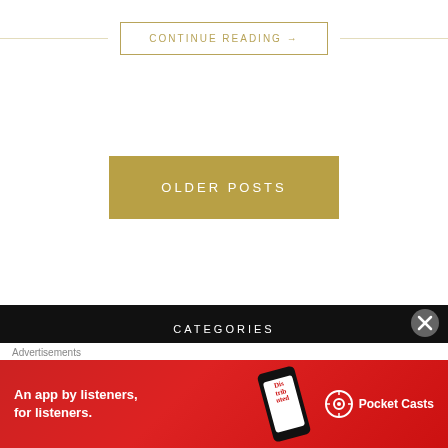CONTINUE READING →
OLDER POSTS
CATEGORIES
• Book
Advertisements
[Figure (illustration): Pocket Casts app advertisement banner with red background showing phone and logo with text 'An app by listeners, for listeners.']